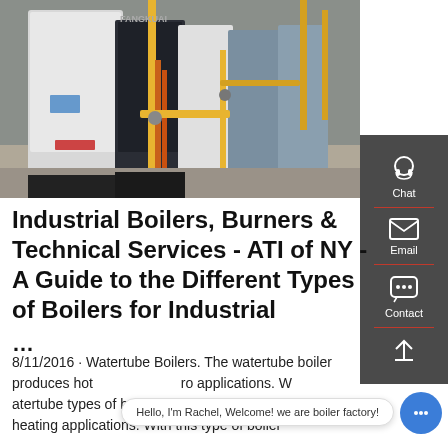[Figure (photo): Industrial boilers in a mechanical room with yellow and orange pipes, large white and grey boiler units labeled FANGKUAI]
Industrial Boilers, Burners & Technical Services - ATI of NY - A Guide to the Different Types of Boilers for Industrial ...
8/11/2016 · Watertube Boilers. The watertube boiler produces hot ... ro applications. Watertube types of boilers are extensively for comfort heating applications. With this type of boiler